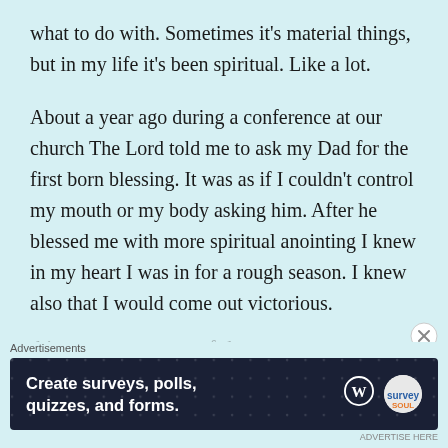what to do with. Sometimes it's material things, but in my life it's been spiritual. Like a lot.
About a year ago during a conference at our church The Lord told me to ask my Dad for the first born blessing. It was as if I couldn't control my mouth or my body asking him. After he blessed me with more spiritual anointing I knew in my heart I was in for a rough season. I knew also that I would come out victorious.
[Figure (other): Advertisement banner: 'Create surveys, polls, quizzes, and forms.' with WordPress and SurveyMonkey logos on dark navy background with dot pattern.]